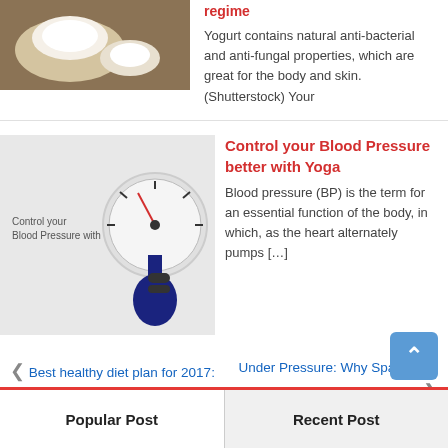[Figure (photo): Photo of white bowls/yogurt on wooden surface]
regime
Yogurt contains natural anti-bacterial and anti-fungal properties, which are great for the body and skin.(Shutterstock) Your
[Figure (photo): Image showing a blood pressure gauge with text 'Control your Blood Pressure with Yoga']
Control your Blood Pressure better with Yoga
Blood pressure (BP) is the term for an essential function of the body, in which, as the heart alternately pumps […]
Best healthy diet plan for 2017: Reviews of Atkins, 5:2, Weight Watchers, Slimming World and more
Under Pressure: Why Spaceflight Is So Hard on Astronauts' Eyes
| Popular Post | Recent Post |
| --- | --- |